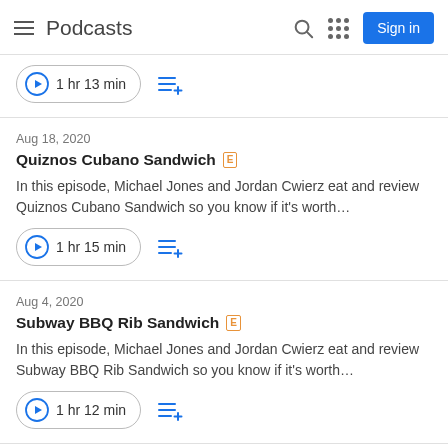Podcasts
1 hr 13 min
Aug 18, 2020
Quiznos Cubano Sandwich [E]
In this episode, Michael Jones and Jordan Cwierz eat and review Quiznos Cubano Sandwich so you know if it's worth…
1 hr 15 min
Aug 4, 2020
Subway BBQ Rib Sandwich [E]
In this episode, Michael Jones and Jordan Cwierz eat and review Subway BBQ Rib Sandwich so you know if it's worth…
1 hr 12 min
Jul 21, 2020